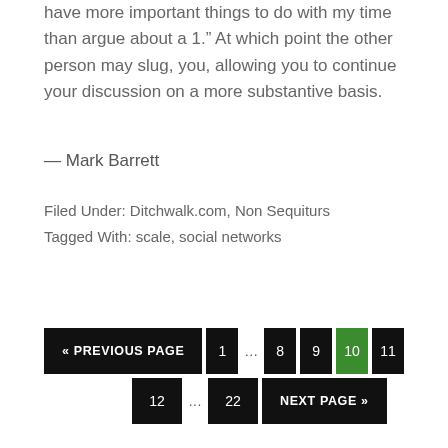have more important things to do with my time than argue about a 1.” At which point the other person may slug, you, allowing you to continue your discussion on a more substantive basis.
— Mark Barrett
Filed Under: Ditchwalk.com, Non Sequiturs
Tagged With: scale, social networks
« PREVIOUS PAGE  1 … 8  9  10  11  12 … 22  NEXT PAGE »